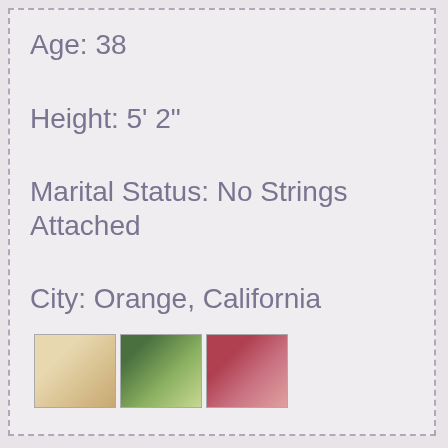Age: 38
Height: 5' 2"
Marital Status: No Strings Attached
City: Orange, California
[Figure (photo): Three small thumbnail photos at bottom of profile card]